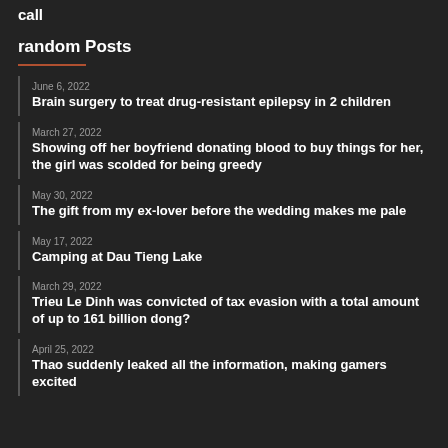call
random Posts
June 6, 2022 — Brain surgery to treat drug-resistant epilepsy in 2 children
March 27, 2022 — Showing off her boyfriend donating blood to buy things for her, the girl was scolded for being greedy
May 30, 2022 — The gift from my ex-lover before the wedding makes me pale
May 17, 2022 — Camping at Dau Tieng Lake
March 29, 2022 — Trieu Le Dinh was convicted of tax evasion with a total amount of up to 161 billion dong?
April 25, 2022 — Thao suddenly leaked all the information, making gamers excited